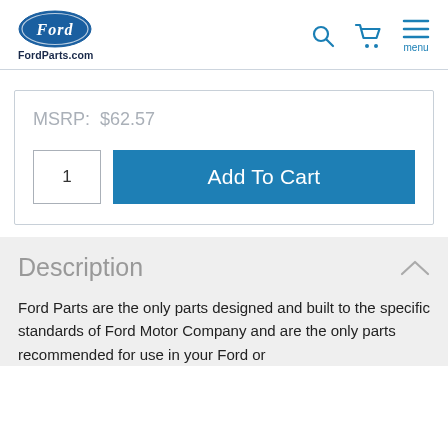FordParts.com
MSRP:  $62.57
1  Add To Cart
Description
Ford Parts are the only parts designed and built to the specific standards of Ford Motor Company and are the only parts recommended for use in your Ford or